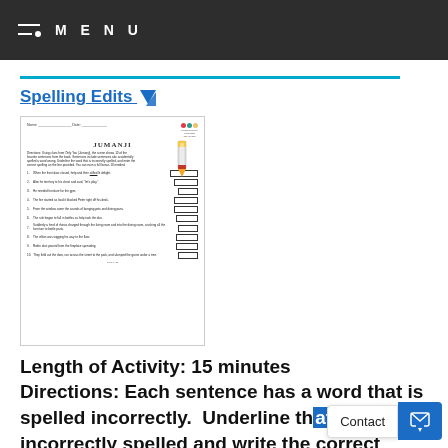MENU
Spelling Edits
[Figure (illustration): Thumbnail preview of a Jumanji spelling edits worksheet showing sentences with incorrectly spelled words and answer boxes]
Length of Activity: 15 minutes
Directions: Each sentence has a word that is spelled incorrectly. Underline the word that is incorrectly spelled and write the correct